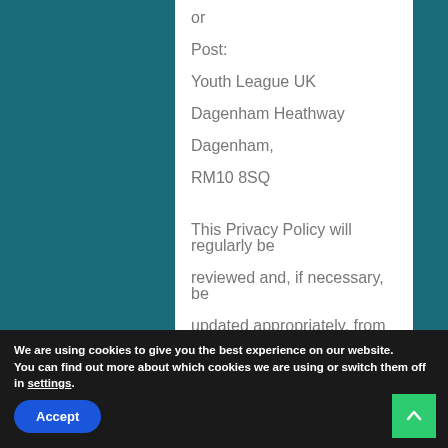or
Post:
Youth League UK
Dagenham Heathway
Dagenham,
RM10 8SQ
This Privacy Policy will regularly be reviewed and, if necessary, be updated appropriately, from time to time.
We are using cookies to give you the best experience on our website.
You can find out more about which cookies we are using or switch them off in settings.